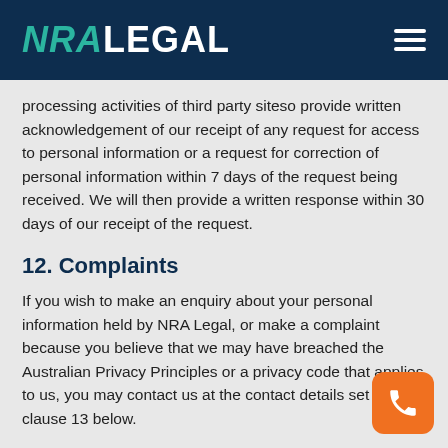NRA LEGAL
processing activities of third party siteso provide written acknowledgement of our receipt of any request for access to personal information or a request for correction of personal information within 7 days of the request being received. We will then provide a written response within 30 days of our receipt of the request.
12. Complaints
If you wish to make an enquiry about your personal information held by NRA Legal, or make a complaint because you believe that we may have breached the Australian Privacy Principles or a privacy code that applies to us, you may contact us at the contact details set out at clause 13 below.